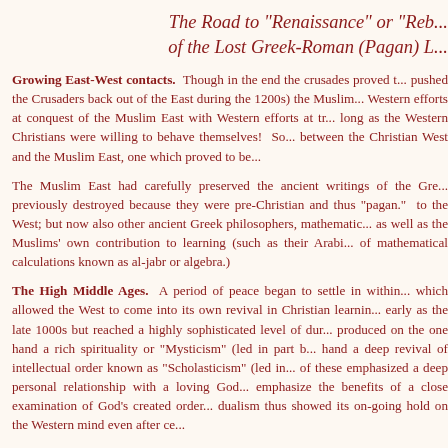The Road to "Renaissance" or "Reb... of the Lost Greek-Roman (Pagan) L...
Growing East-West contacts. Though in the end the crusades proved t... pushed the Crusaders back out of the East during the 1200s) the Muslim... Western efforts at conquest of the Muslim East with Western efforts at tr... long as the Western Christians were willing to behave themselves! So... between the Christian West and the Muslim East, one which proved to be...
The Muslim East had carefully preserved the ancient writings of the Gre... previously destroyed because they were pre-Christian and thus "pagan."... to the West; but now also other ancient Greek philosophers, mathematic... as well as the Muslims' own contribution to learning (such as their Arabi... of mathematical calculations known as al-jabr or algebra.)
The High Middle Ages. A period of peace began to settle in within... which allowed the West to come into its own revival in Christian learnin... early as the late 1000s but reached a highly sophisticated level of dur... produced on the one hand a rich spirituality or "Mysticism" (led in part b... hand a deep revival of intellectual order known as "Scholasticism" (led in... of these emphasized a deep personal relationship with a loving God... emphasize the benefits of a close examination of God's created order... dualism thus showed its on-going hold on the Western mind even after ce...
By the 1300s this stirring intellectual curiosity had begun to shift its to...